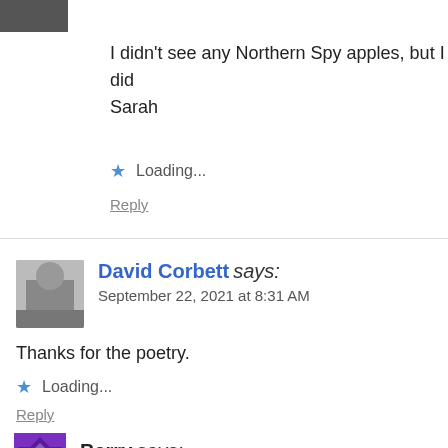[Figure (photo): Small avatar image at top left, partially cropped]
I didn't see any Northern Spy apples, but I did
Sarah
Loading...
Reply
[Figure (photo): Grayscale avatar photo of David Corbett]
David Corbett says:
September 22, 2021 at 8:31 AM
Thanks for the poetry.
Loading...
Reply
[Figure (logo): Purple and white decorative avatar for Barry]
Barry says: